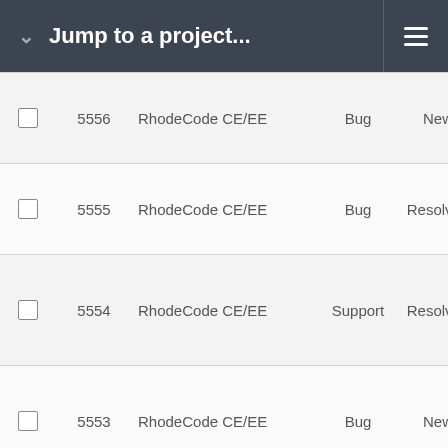Jump to a project...
|  | # | Project | Type | Status | Priority |
| --- | --- | --- | --- | --- | --- |
|  | 5556 | RhodeCode CE/EE | Bug | New | Normal |
|  | 5555 | RhodeCode CE/EE | Bug | Resolved | Normal |
|  | 5554 | RhodeCode CE/EE | Support | Resolved | Normal |
|  | 5553 | RhodeCode CE/EE | Bug | New | Normal |